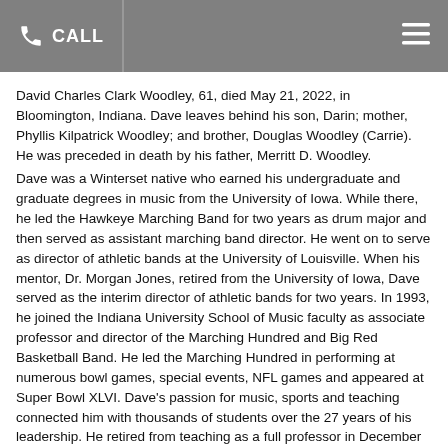CALL
David Charles Clark Woodley, 61, died May 21, 2022, in Bloomington, Indiana. Dave leaves behind his son, Darin; mother, Phyllis Kilpatrick Woodley; and brother, Douglas Woodley (Carrie). He was preceded in death by his father, Merritt D. Woodley.
Dave was a Winterset native who earned his undergraduate and graduate degrees in music from the University of Iowa. While there, he led the Hawkeye Marching Band for two years as drum major and then served as assistant marching band director. He went on to serve as director of athletic bands at the University of Louisville. When his mentor, Dr. Morgan Jones, retired from the University of Iowa, Dave served as the interim director of athletic bands for two years. In 1993, he joined the Indiana University School of Music faculty as associate professor and director of the Marching Hundred and Big Red Basketball Band. He led the Marching Hundred in performing at numerous bowl games, special events, NFL games and appeared at Super Bowl XLVI. Dave's passion for music, sports and teaching connected him with thousands of students over the 27 years of his leadership. He retired from teaching as a full professor in December of 2021.
Visitation was held at Caldwell Parrish Funeral Home in Winterset on Friday, May 27.